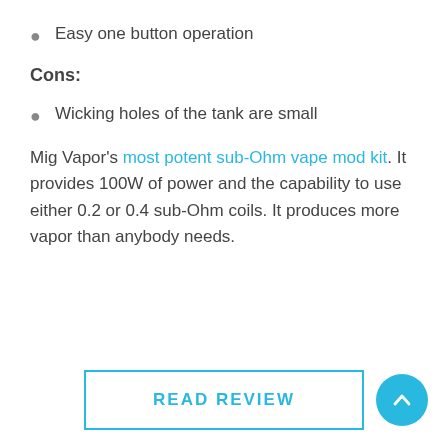Easy one button operation
Cons:
Wicking holes of the tank are small
Mig Vapor's most potent sub-Ohm vape mod kit. It provides 100W of power and the capability to use either 0.2 or 0.4 sub-Ohm coils. It produces more vapor than anybody needs.
READ REVIEW